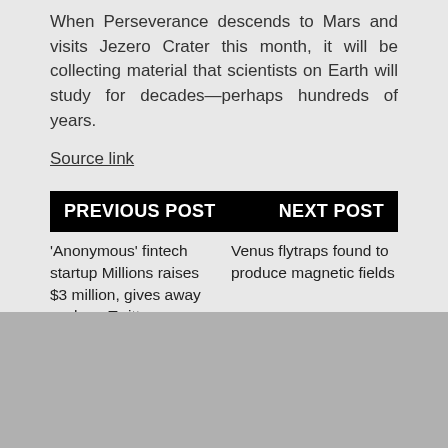When Perseverance descends to Mars and visits Jezero Crater this month, it will be collecting material that scientists on Earth will study for decades—perhaps hundreds of years.
Source link
PREVIOUS POST   NEXT POST
'Anonymous' fintech startup Millions raises $3 million, gives away cash on Twitter
Venus flytraps found to produce magnetic fields
[Figure (other): Gray rectangular placeholder block at the bottom of the page]